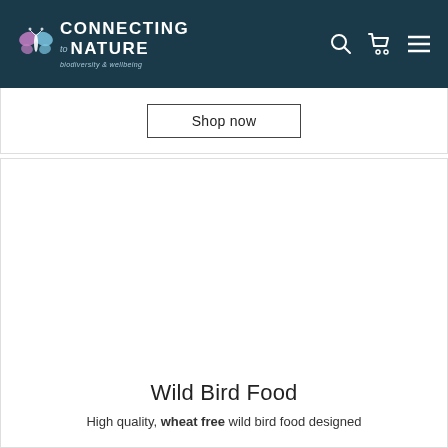CONNECTING to NATURE — biodiversity & wellbeing
Shop now
[Figure (photo): Product image area — white/blank space for Wild Bird Food product]
Wild Bird Food
High quality, wheat free wild bird food designed